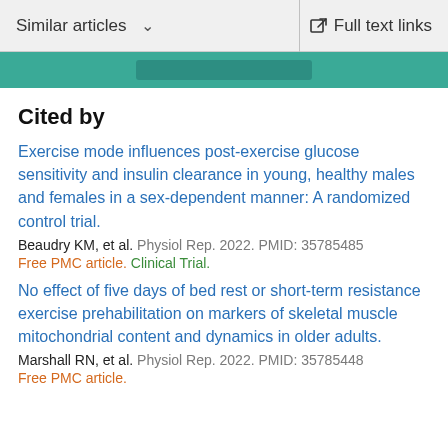Similar articles   Full text links
Cited by
Exercise mode influences post-exercise glucose sensitivity and insulin clearance in young, healthy males and females in a sex-dependent manner: A randomized control trial.
Beaudry KM, et al. Physiol Rep. 2022. PMID: 35785485
Free PMC article. Clinical Trial.
No effect of five days of bed rest or short-term resistance exercise prehabilitation on markers of skeletal muscle mitochondrial content and dynamics in older adults.
Marshall RN, et al. Physiol Rep. 2022. PMID: 35785448
Free PMC article.